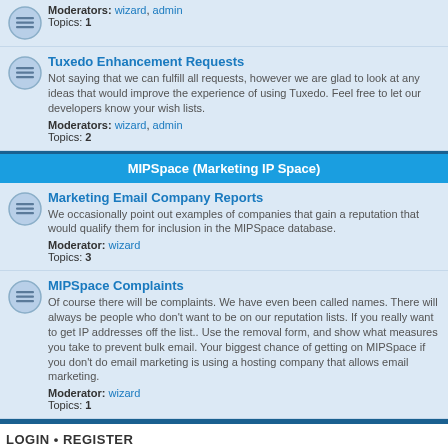Moderators: wizard, admin
Topics: 1
Tuxedo Enhancement Requests
Not saying that we can fulfill all requests, however we are glad to look at any ideas that would improve the experience of using Tuxedo. Feel free to let our developers know your wish lists.
Moderators: wizard, admin
Topics: 2
MIPSpace (Marketing IP Space)
Marketing Email Company Reports
We occasionally point out examples of companies that gain a reputation that would qualify them for inclusion in the MIPSpace database.
Moderator: wizard
Topics: 3
MIPSpace Complaints
Of course there will be complaints. We have even been called names. There will always be people who don't want to be on our reputation lists. If you really want to get IP addresses off the list.. Use the removal form, and show what measures you take to prevent bulk email. Your biggest chance of getting on MIPSpace if you don't do email marketing is using a hosting company that allows email marketing.
Moderator: wizard
Topics: 1
LOGIN • REGISTER
Username:
Password: